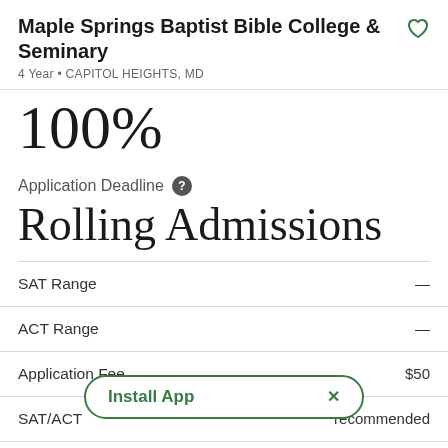Maple Springs Baptist Bible College & Seminary
4 Year • CAPITOL HEIGHTS, MD
100%
Application Deadline
Rolling Admissions
| Field | Value |
| --- | --- |
| SAT Range | — |
| ACT Range | — |
| Application Fee | $50 |
| SAT/ACT | recommended |
| High School GPA |  |
Install App  ×